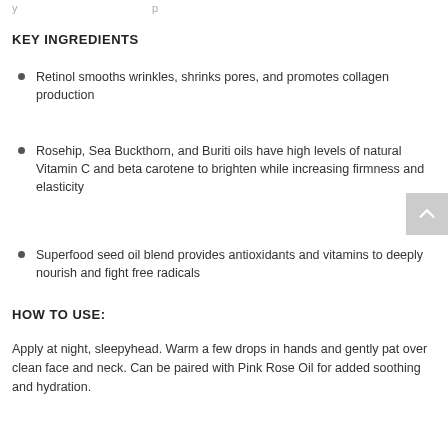y                                                    p
KEY INGREDIENTS
Retinol smooths wrinkles, shrinks pores, and promotes collagen production
Rosehip, Sea Buckthorn, and Buriti oils have high levels of natural Vitamin C and beta carotene to brighten while increasing firmness and elasticity
Superfood seed oil blend provides antioxidants and vitamins to deeply nourish and fight free radicals
HOW TO USE:
Apply at night, sleepyhead. Warm a few drops in hands and gently pat over clean face and neck. Can be paired with Pink Rose Oil for added soothing and hydration.